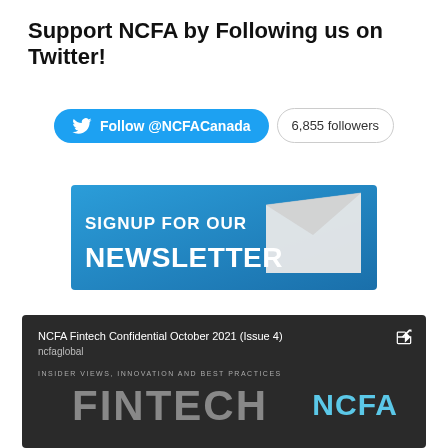Support NCFA by Following us on Twitter!
[Figure (infographic): Twitter follow button showing Follow @NCFACanada with 6,855 followers badge]
[Figure (infographic): Blue newsletter signup banner with envelope image reading SIGNUP FOR OUR NEWSLETTER]
[Figure (screenshot): Video thumbnail showing NCFA Fintech Confidential October 2021 Issue 4 from ncfaglobal, with FINTECH text and NCFA logo on dark background]